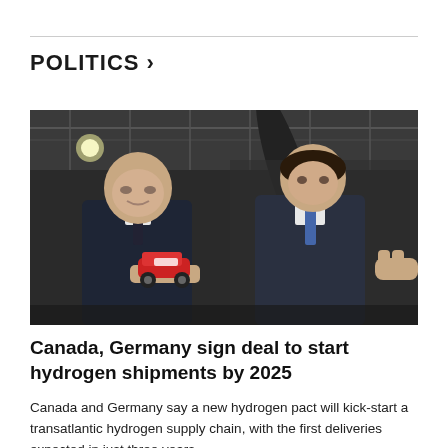POLITICS >
[Figure (photo): Two men in dark suits looking at a small red toy car model. One man (left, older, bald) is holding the toy car and smiling. The other man (right, younger, dark hair) looks on. A third hand reaches in from the right. They appear to be in an industrial hangar setting.]
Canada, Germany sign deal to start hydrogen shipments by 2025
Canada and Germany say a new hydrogen pact will kick-start a transatlantic hydrogen supply chain, with the first deliveries expected in just three years.